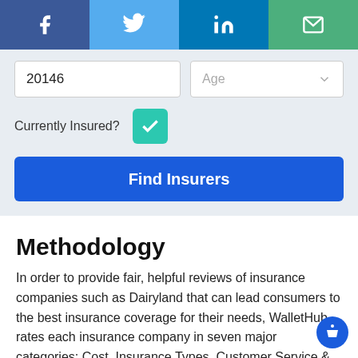[Figure (screenshot): Social share bar with Facebook, Twitter, LinkedIn, and Email icons]
[Figure (screenshot): Insurance finder form with ZIP code input (20146), Age dropdown, Currently Insured checkbox (checked), and Find Insurers button]
Methodology
In order to provide fair, helpful reviews of insurance companies such as Dairyland that can lead consumers to the best insurance coverage for their needs, WalletHub rates each insurance company in seven major categories: Cost, Insurance Types, Customer Service & Reviews,